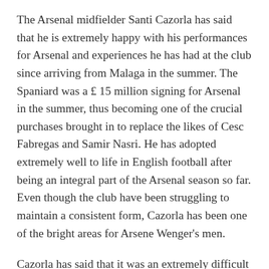The Arsenal midfielder Santi Cazorla has said that he is extremely happy with his performances for Arsenal and experiences he has had at the club since arriving from Malaga in the summer. The Spaniard was a £ 15 million signing for Arsenal in the summer, thus becoming one of the crucial purchases brought in to replace the likes of Cesc Fabregas and Samir Nasri. He has adopted extremely well to life in English football after being an integral part of the Arsenal season so far. Even though the club have been struggling to maintain a consistent form, Cazorla has been one of the bright areas for Arsene Wenger's men.
Cazorla has said that it was an extremely difficult decision to be able to move to a different country